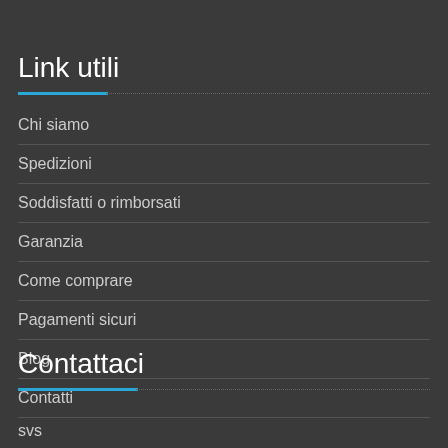Link utili
Chi siamo
Spedizioni
Soddisfatti o rimborsati
Garanzia
Come comprare
Pagamenti sicuri
Blog
Contatti
Contattaci
svs